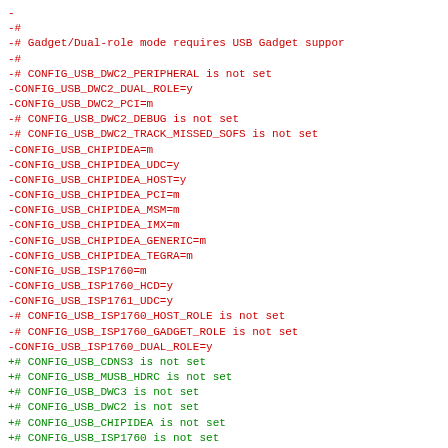Diff output showing removed (-) and added (+) Linux kernel config lines related to USB subsystem configuration